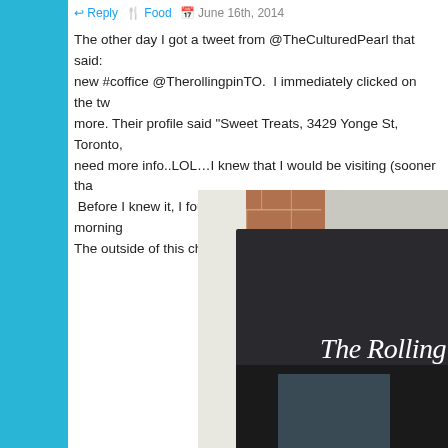Reply Food June 16th, 2014
The other day I got a tweet from @TheCulturedPearl that said: new #coffice @TherollingpinTO.  I immediately clicked on the tw more. Their profile said “Sweet Treats, 3429 Yonge St, Toronto, need more info..LOL…I knew that I would be visiting (sooner tha  Before I knew it, I found myself dropping by on Sunday morning The outside of this charming bakery looks like this.
[Figure (photo): Exterior photo of The Rolling Pin bakery storefront at 3429 Yonge St, Toronto. Shows brick facade, white column on left, dark charcoal/black awning with 'The Rolling Pin' written in white cursive script, a wall-mounted industrial lamp, and dark entrance doors at the bottom.]